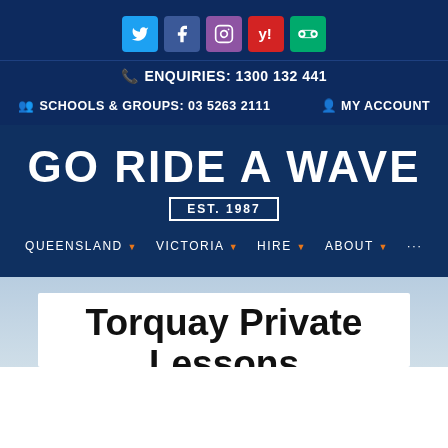[Figure (screenshot): Social media icons row: Twitter (blue), Facebook (dark blue), Instagram (purple), Yelp (red), TripAdvisor (green)]
ENQUIRIES: 1300 132 441
SCHOOLS & GROUPS: 03 5263 2111    MY ACCOUNT
GO RIDE A WAVE EST. 1987
QUEENSLAND  VICTORIA  HIRE  ABOUT  ...
Torquay Private Lessons